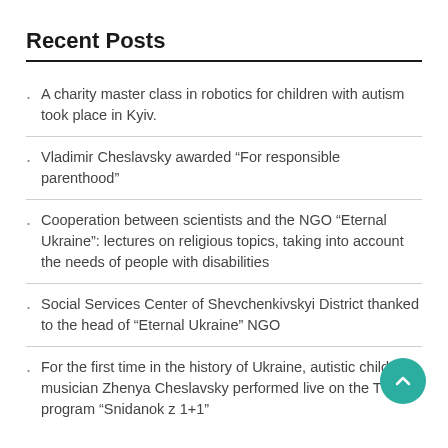Recent Posts
A charity master class in robotics for children with autism took place in Kyiv.
Vladimir Cheslavsky awarded “For responsible parenthood”
Cooperation between scientists and the NGO “Eternal Ukraine”: lectures on religious topics, taking into account the needs of people with disabilities
Social Services Center of Shevchenkivskyi District thanked to the head of “Eternal Ukraine” NGO
For the first time in the history of Ukraine, autistic child musician Zhenya Cheslavsky performed live on the TV program “Snidanok z 1+1”